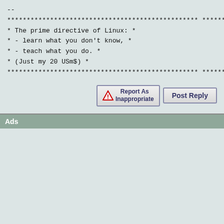--
************************************************* ***********************
* The prime directive of Linux: *
* - learn what you don't know, *
* - teach what you do. *
* (Just my 20 USm$) *
************************************************* ***********************
[Figure (other): Report As Inappropriate button with warning triangle icon and Post Reply button]
Ads